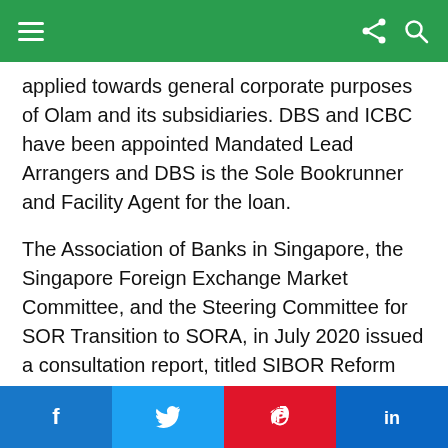Navigation bar with hamburger menu, share icon, search icon
applied towards general corporate purposes of Olam and its subsidiaries. DBS and ICBC have been appointed Mandated Lead Arrangers and DBS is the Sole Bookrunner and Facility Agent for the loan.
The Association of Banks in Singapore, the Singapore Foreign Exchange Market Committee, and the Steering Committee for SOR Transition to SORA, in July 2020 issued a consultation report, titled SIBOR Reform and the Future Landscape of SGD Interest Rate Benchmarks.
The Report recommends the discontinuation of the
Social share buttons: Facebook, Twitter, Pinterest, LinkedIn